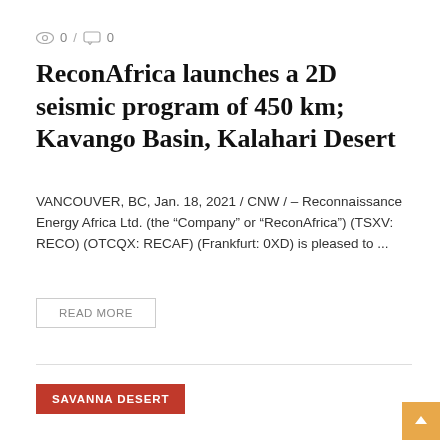0 / 0
ReconAfrica launches a 2D seismic program of 450 km; Kavango Basin, Kalahari Desert
VANCOUVER, BC, Jan. 18, 2021 / CNW / – Reconnaissance Energy Africa Ltd. (the “Company” or “ReconAfrica”) (TSXV: RECO) (OTCQX: RECAF) (Frankfurt: 0XD) is pleased to ...
READ MORE
SAVANNA DESERT